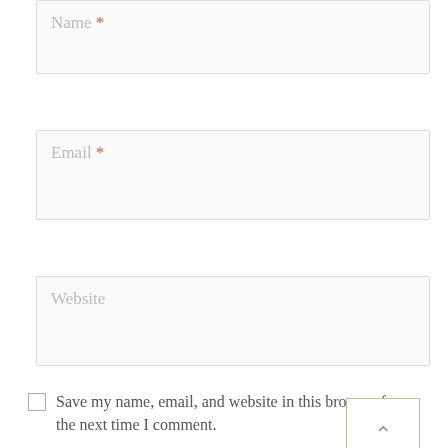Name *
Email *
Website
Save my name, email, and website in this browser for the next time I comment.
Notify me via e-mail if anyone answers my comment.